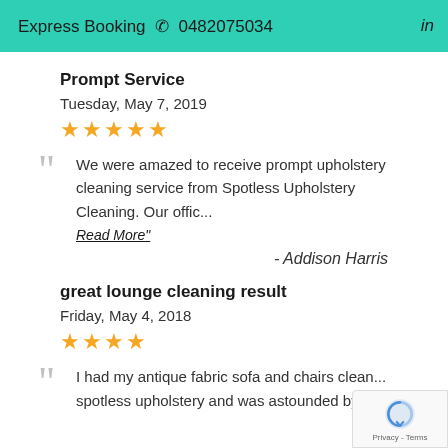Express Booking 📞 0482075034   in
Prompt Service
Tuesday, May 7, 2019
★★★★★
We were amazed to receive prompt upholstery cleaning service from Spotless Upholstery Cleaning. Our offic... Read More"
- Addison Harris
great lounge cleaning result
Friday, May 4, 2018
★★★★
I had my antique fabric sofa and chairs clean... spotless upholstery and was astounded by the